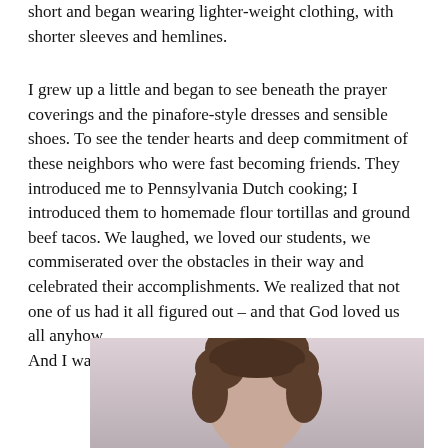short and began wearing lighter-weight clothing, with shorter sleeves and hemlines.
I grew up a little and began to see beneath the prayer coverings and the pinafore-style dresses and sensible shoes. To see the tender hearts and deep commitment of these neighbors who were fast becoming friends. They introduced me to Pennsylvania Dutch cooking; I introduced them to homemade flour tortillas and ground beef tacos. We laughed, we loved our students, we commiserated over the obstacles in their way and celebrated their accomplishments. We realized that not one of us had it all figured out – and that God loved us all anyhow.
And I was never homesick again.
[Figure (photo): Partial photo showing the top of a person's head with brown hair, against a light pinkish-purple background.]